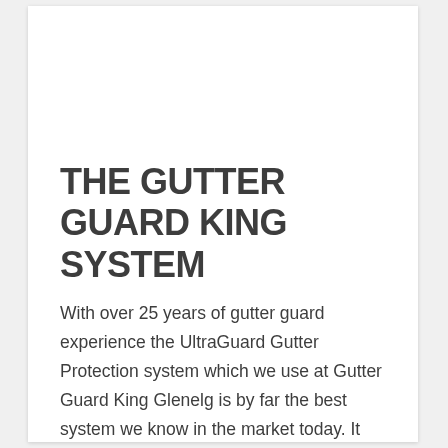THE GUTTER GUARD KING SYSTEM
With over 25 years of gutter guard experience the UltraGuard Gutter Protection system which we use at Gutter Guard King Glenelg is by far the best system we know in the market today. It simply Works ! It provides a full roof protection using a high exposure grade aluminium mesh which is